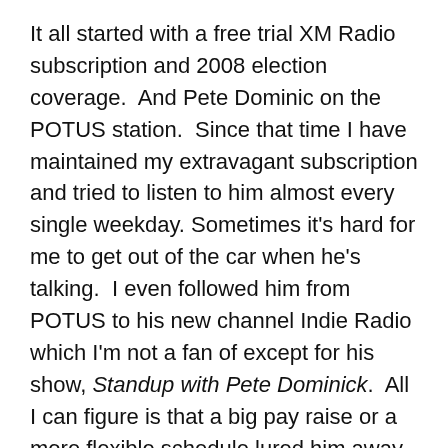It all started with a free trial XM Radio subscription and 2008 election coverage.  And Pete Dominic on the POTUS station.  Since that time I have maintained my extravagant subscription and tried to listen to him almost every single weekday. Sometimes it's hard for me to get out of the car when he's talking.  I even followed him from POTUS to his new channel Indie Radio which I'm not a fan of except for his show, Standup with Pete Dominick.  All I can figure is that a big pay raise or a more flexible schedule lured him away from POTUS.  But I digress. I have remained a [strikethrough: stalker of his] loyal listener.
Pete (we're on a first name basis but he doesn't know it) has a background as a stand-up comedian and he is smart as hell.  He calls it like it is and is incredibly real, smart,  perfectly sarcastic, open minded, spot-on with human being behavior, and hilarious.  He's also self-